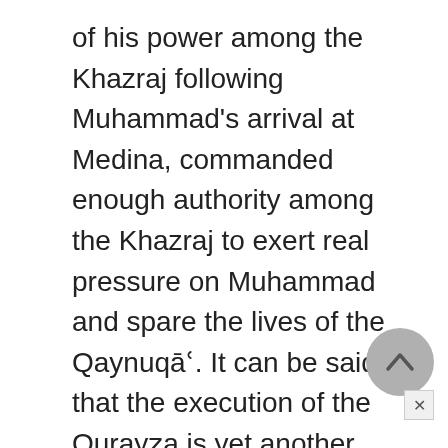of his power among the Khazraj following Muhammad's arrival at Medina, commanded enough authority among the Khazraj to exert real pressure on Muhammad and spare the lives of the Qaynuqāʿ. It can be said that the execution of the Qurayẓa is yet another attestation of the collapse of the system of alliances that had safeguarded the security of the Jewish tribes.